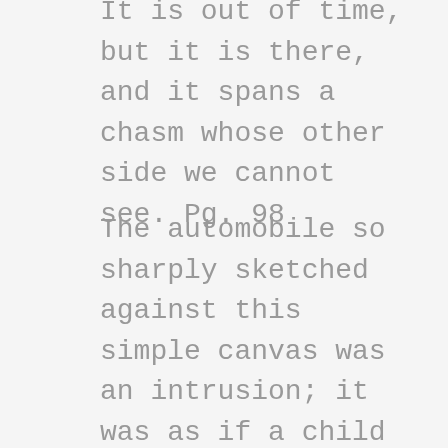It is out of time, but it is there, and it spans a chasm whose other side we cannot see. Pg. 98
The automobile so sharply sketched against this simple canvas was an intrusion; it was as if a child had pasted the picture of a foolish toy over a painting you had known for years. Pg. 152